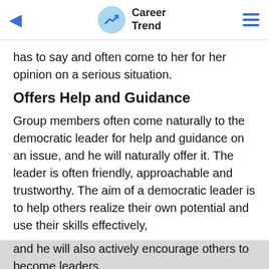Career Trend
has to say and often come to her for her opinion on a serious situation.
Offers Help and Guidance
Group members often come naturally to the democratic leader for help and guidance on an issue, and he will naturally offer it. The leader is often friendly, approachable and trustworthy. The aim of a democratic leader is to help others realize their own potential and use their skills effectively, and he will also actively encourage others to become leaders.